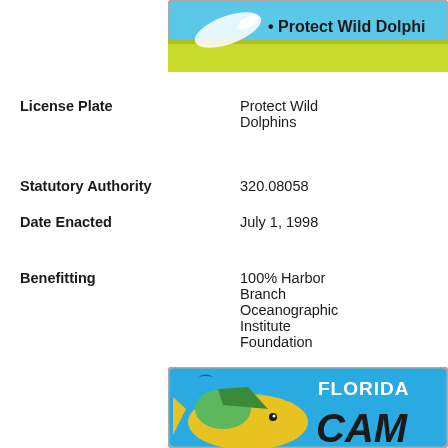[Figure (photo): Florida license plate - Protect Wild Dolphins, blue and yellow-green design, cropped at top]
License Plate: Protect Wild Dolphins
Statutory Authority: 320.08058
Date Enacted: July 1, 1998
Benefitting: 100% Harbor Branch Oceanographic Institute Foundation
[Figure (photo): Florida license plate - Mahi-mahi fish design with FLORIDA text and partial CAM text, blue background]